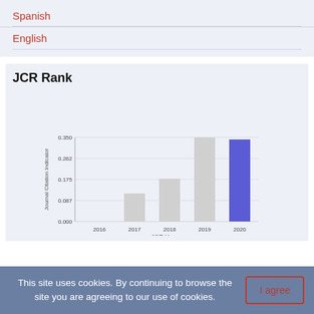Spanish
English
JCR Rank
[Figure (bar-chart): JCR Rank]
This site uses cookies. By continuing to browse the site you are agreeing to our use of cookies. I agree